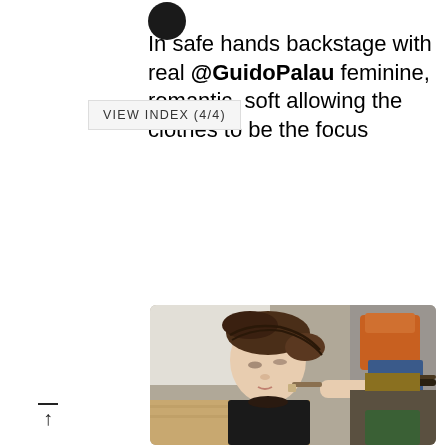[Figure (photo): Circular avatar/profile photo (dark silhouette) at top of tweet]
In safe hands backstage with real @GuidoPalau feminine, romantic, soft allowing the clothes to be the focus
VIEW INDEX (4/4)
[Figure (photo): Backstage photo of a model with braided updo hairstyle having eye makeup applied by a makeup artist with a brush, wearing a black top. Another person visible in background in orange and red clothing.]
↑